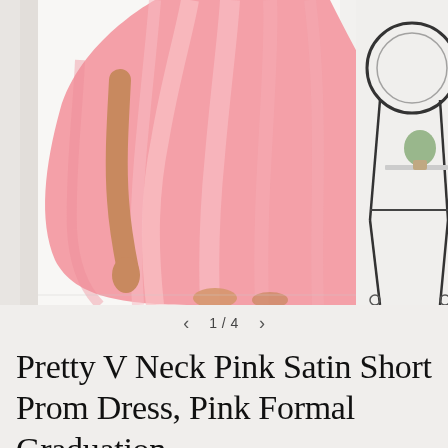[Figure (photo): A woman wearing a voluminous pink satin short prom dress, showing the skirt and lower torso. The pink skirt is full and pleated, falling above the knee. Background shows a light interior with a black metal chair and small potted plant on the right side.]
< 1 / 4 >
Pretty V Neck Pink Satin Short Prom Dress, Pink Formal Graduation